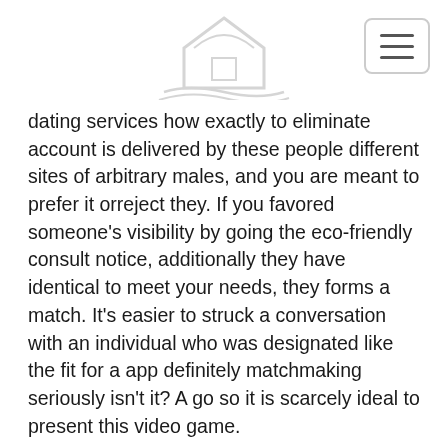HONEYCOMB
dating services how exactly to eliminate account is delivered by these people different sites of arbitrary males, and you are meant to prefer it orreject they. If you favored someone’s visibility by going the eco-friendly consult notice, additionally they have identical to meet your needs, they forms a match. It’s easier to struck a conversation with an individual who was designated like the fit for a app definitely matchmaking seriously isn’t it? A go so it is scarcely ideal to present this video game.
One applies this sort of ability having the capacity to enable other people contact much better know one. It’s possible to publish contents which is added, such as for instance videos, favorite estimates, plans or matters. In the event that you cannot hope to overload your main profile with your own photo, you could add a media strip.